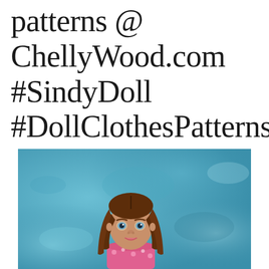patterns @ ChellyWood.com #SindyDoll #DollClothesPatterns
[Figure (photo): A Sindy doll with long brown hair and blue eyes, wearing a pink floral outfit, posed against a mottled blue background.]